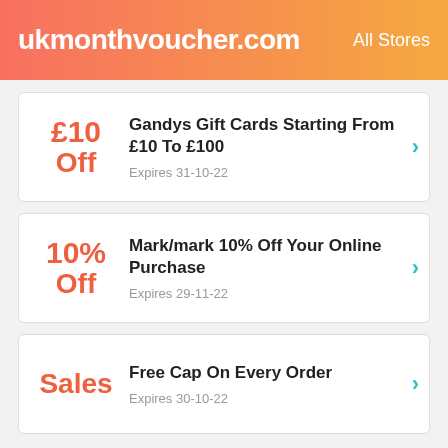ukmonthvoucher.com   All Stores
£10 Off – Gandys Gift Cards Starting From £10 To £100 – Expires 31-10-22
10% Off – Mark/mark 10% Off Your Online Purchase – Expires 29-11-22
Sales – Free Cap On Every Order – Expires 30-10-22